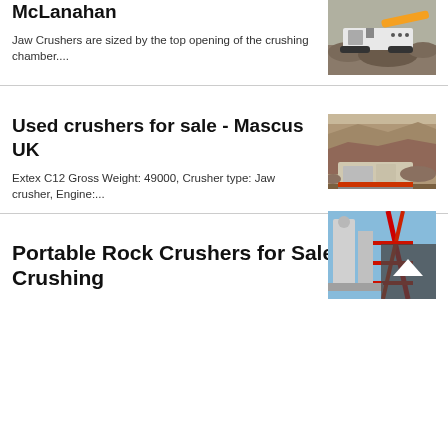McLanahan
Jaw Crushers are sized by the top opening of the crushing chamber....
[Figure (photo): Industrial jaw crusher machine on tracks with orange conveyor belt, surrounded by crushed rock/gravel]
Used crushers for sale - Mascus UK
Extex C12 Gross Weight: 49000, Crusher type: Jaw crusher, Engine:....
[Figure (photo): Used mobile jaw crusher machine in quarry setting with rock material]
Portable Rock Crushers for Sale | Rock Crushing
[Figure (photo): Portable rock crusher plant with industrial silos and red crane structure, partially visible]